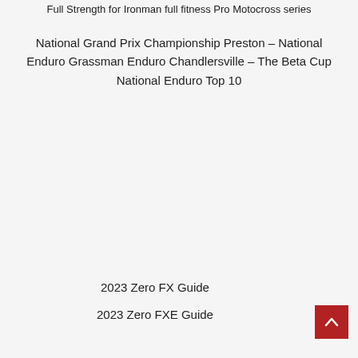Full Strength for Ironman full fitness Pro Motocross series
National Grand Prix Championship Preston – National Enduro Grassman Enduro Chandlersville – The Beta Cup National Enduro Top 10
2023 Zero FX Guide
2023 Zero FXE Guide